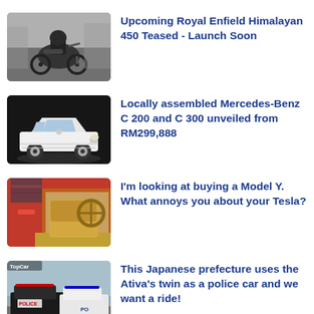[Figure (photo): Black and white photo of a motorcyclist riding a motorcycle on a rough terrain]
Upcoming Royal Enfield Himalayan 450 Teased - Launch Soon
[Figure (photo): White Mercedes-Benz C-class sedan on a dark background]
Locally assembled Mercedes-Benz C 200 and C 300 unveiled from RM299,888
[Figure (photo): Interior of a red car showing open door, dashboard and seats]
I'm looking at buying a Model Y. What annoys you about your Tesla?
[Figure (photo): Japanese police cars with TopCar logo watermark]
This Japanese prefecture uses the Ativa's twin as a police car and we want a ride!